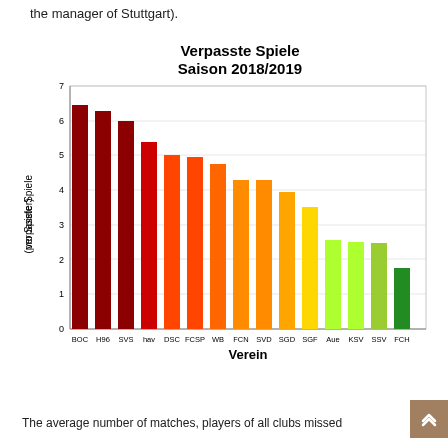the manager of Stuttgart).
[Figure (bar-chart): Verpasste Spiele Saison 2018/2019]
The average number of matches, players of all clubs missed